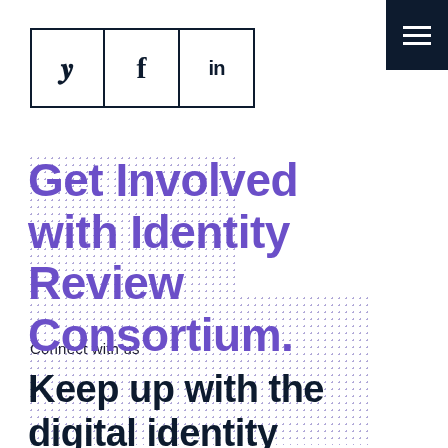[Figure (other): Social media icon bar with three cells: Twitter (bird icon), Facebook (f), and LinkedIn (in), each in a bordered box]
[Figure (other): Dark navy hamburger menu button in top-right corner with three white horizontal lines]
Get Involved with Identity Review Consortium.
Connect with us
Keep up with the digital identity landscape.